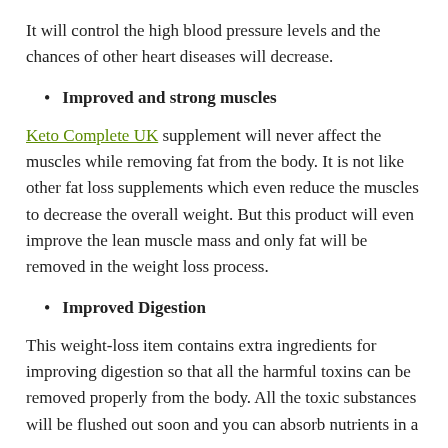It will control the high blood pressure levels and the chances of other heart diseases will decrease.
Improved and strong muscles
Keto Complete UK supplement will never affect the muscles while removing fat from the body. It is not like other fat loss supplements which even reduce the muscles to decrease the overall weight. But this product will even improve the lean muscle mass and only fat will be removed in the weight loss process.
Improved Digestion
This weight-loss item contains extra ingredients for improving digestion so that all the harmful toxins can be removed properly from the body. All the toxic substances will be flushed out soon and you can absorb nutrients in a